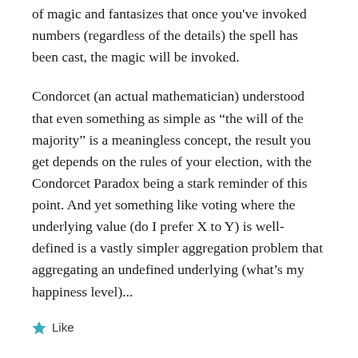of magic and fantasizes that once you've invoked numbers (regardless of the details) the spell has been cast, the magic will be invoked.
Condorcet (an actual mathematician) understood that even something as simple as “the will of the majority” is a meaningless concept, the result you get depends on the rules of your election, with the Condorcet Paradox being a stark reminder of this point. And yet something like voting where the underlying value (do I prefer X to Y) is well-defined is a vastly simpler aggregation problem that aggregating an undefined underlying (what’s my happiness level)...
Like